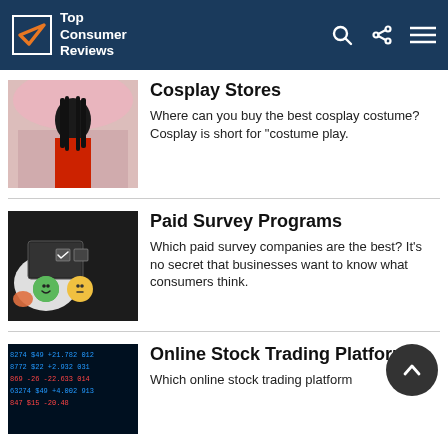Top Consumer Reviews
Cosplay Stores
Where can you buy the best cosplay costume? Cosplay is short for "costume play.
Paid Survey Programs
Which paid survey companies are the best? It's no secret that businesses want to know what consumers think.
Online Stock Trading Platforms
Which online stock trading platform...